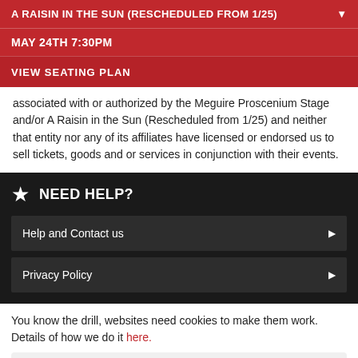A RAISIN IN THE SUN (RESCHEDULED FROM 1/25)
MAY 24TH 7:30PM
VIEW SEATING PLAN
associated with or authorized by the Meguire Proscenium Stage and/or A Raisin in the Sun (Rescheduled from 1/25) and neither that entity nor any of its affiliates have licensed or endorsed us to sell tickets, goods and or services in conjunction with their events.
NEED HELP?
Help and Contact us
Privacy Policy
You know the drill, websites need cookies to make them work. Details of how we do it here.
Got it!